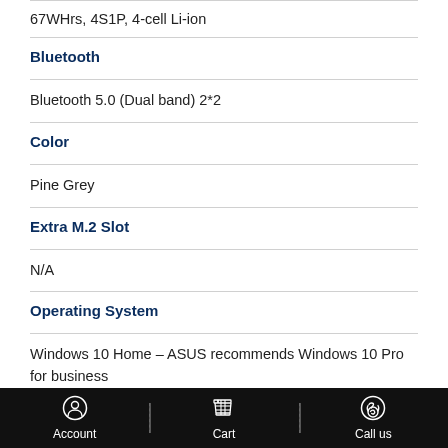67WHrs, 4S1P, 4-cell Li-ion
Bluetooth
Bluetooth 5.0 (Dual band) 2*2
Color
Pine Grey
Extra M.2 Slot
N/A
Operating System
Windows 10 Home – ASUS recommends Windows 10 Pro for business
Account   Cart   Call us